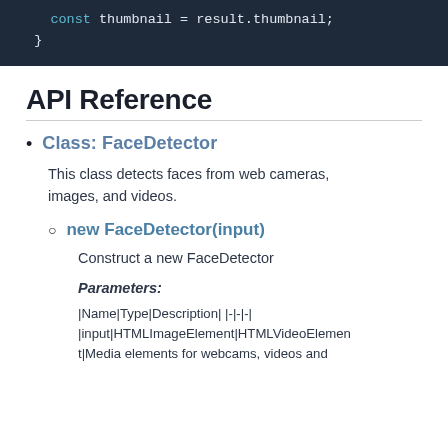[Figure (screenshot): Code block showing: const thumbnail = result.thumbnail; }]
API Reference
Class: FaceDetector
This class detects faces from web cameras, images, and videos.
new FaceDetector(input)
Construct a new FaceDetector
Parameters:
|Name|Type|Description| |-|-|-| |input|HTMLImageElement|HTMLVideoElement|Media elements for webcams, videos and